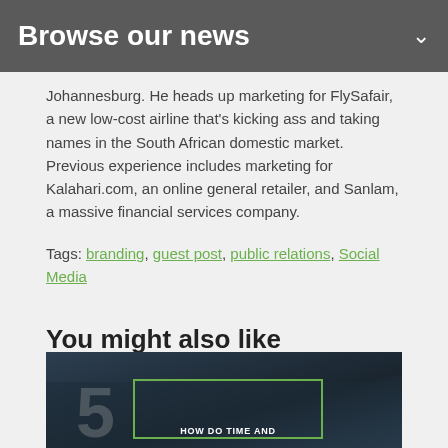Browse our news
Johannesburg. He heads up marketing for FlySafair, a new low-cost airline that's kicking ass and taking names in the South African domestic market. Previous experience includes marketing for Kalahari.com, an online general retailer, and Sanlam, a massive financial services company.
Tags: branding, guest post, public relations, Social Media
You might also like
[Figure (photo): Thumbnail image showing a laptop keyboard in dark tones with a green-bordered overlay box and the number 5, with text HOW DO TIME AND at the bottom]